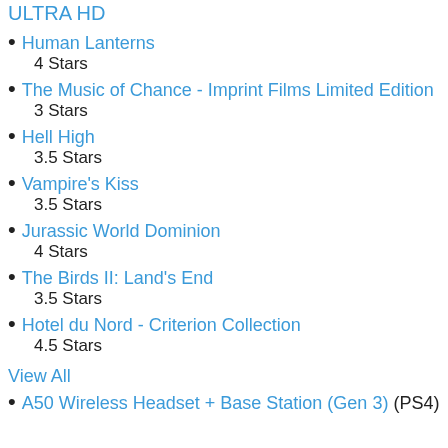ULTRA HD
Human Lanterns
4 Stars
The Music of Chance - Imprint Films Limited Edition
3 Stars
Hell High
3.5 Stars
Vampire's Kiss
3.5 Stars
Jurassic World Dominion
4 Stars
The Birds II: Land's End
3.5 Stars
Hotel du Nord - Criterion Collection
4.5 Stars
View All
A50 Wireless Headset + Base Station (Gen 3) (PS4)